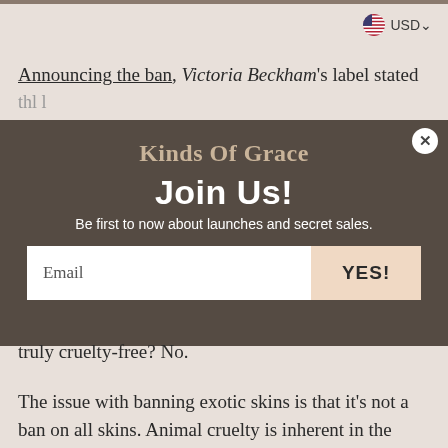USD
Announcing the ban, Victoria Beckham's label stated that it...
[Figure (screenshot): Modal popup overlay with dark brown background containing: site name 'Kinds Of Grace', headline 'Join Us!', subtitle 'Be first to now about launches and secret sales.', email input field, and YES! button. X close button in top-right corner.]
truly cruelty-free? No.
The issue with banning exotic skins is that it's not a ban on all skins. Animal cruelty is inherent in the